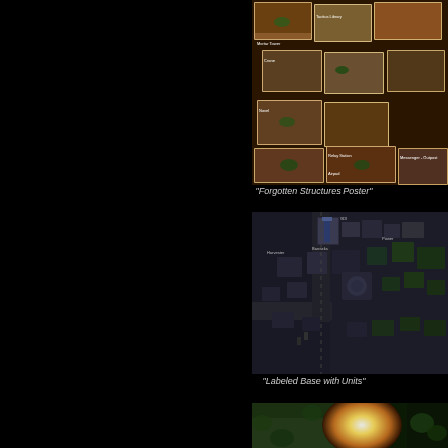[Figure (screenshot): Forgotten Structures Poster - a collage of game unit/structure screenshots arranged on a dark reddish-brown background, showing various vehicles and buildings with white label cards]
"Forgotten Structures Poster"
[Figure (screenshot): Labeled Base with Units - an overhead/isometric view of a game base with various structures and units labeled, showing dark urban terrain with military buildings]
"Labeled Base with Units"
[Figure (screenshot): Partial screenshot showing green terrain with a bright explosion or light effect]